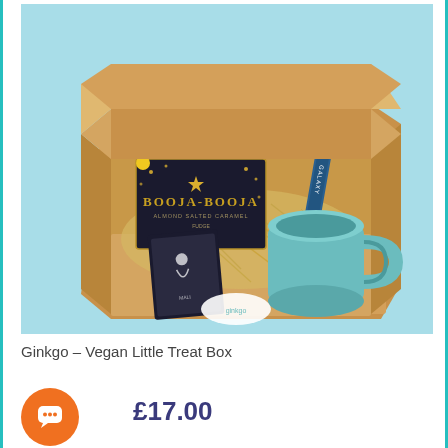[Figure (photo): An open cardboard gift box on a light blue background, filled with straw packaging material. Inside the box is a Booja-Booja Almond Salted Caramel chocolates box, a teal/light blue ceramic mug, a dark chocolate bar, and a small dark book or card. The box has a white circular Ginkgo label on the front.]
Ginkgo – Vegan Little Treat Box
£17.00